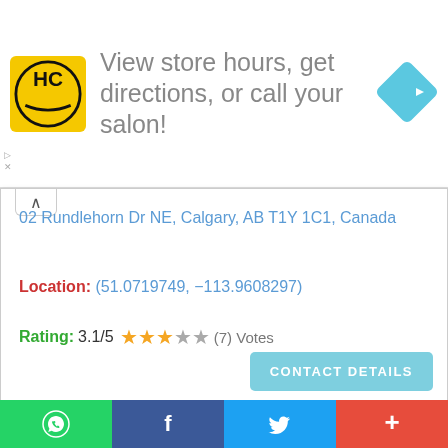[Figure (screenshot): Advertisement banner with HC Salon logo (yellow circle with HC letters), text 'View store hours, get directions, or call your salon!', and a blue diamond navigation arrow icon on the right. Small ad markers on the left side.]
02 Rundlehorn Dr NE, Calgary, AB T1Y 1C1, Canada
Location: (51.0719749, −113.9608297)
Rating: 3.1/5 ★★★☆★ (7) Votes
CONTACT DETAILS
[Figure (map): Google Maps screenshot showing streets including 57 Ave SW and 58 Ave SW in Calgary, with place markers for Value Village, Memory Express Computers Calgary, Wholesalers, Crane Supply, MoJo's License & Registry, and other businesses. Yellow vertical roads and blue location pins visible.]
[Figure (infographic): Social sharing bar at the bottom with four buttons: green WhatsApp icon, blue Facebook icon, light blue Twitter icon, and red plus button.]